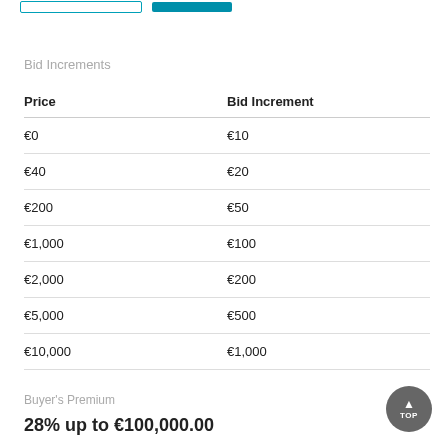Bid Increments
| Price | Bid Increment |
| --- | --- |
| €0 | €10 |
| €40 | €20 |
| €200 | €50 |
| €1,000 | €100 |
| €2,000 | €200 |
| €5,000 | €500 |
| €10,000 | €1,000 |
Buyer's Premium
28% up to €100,000.00